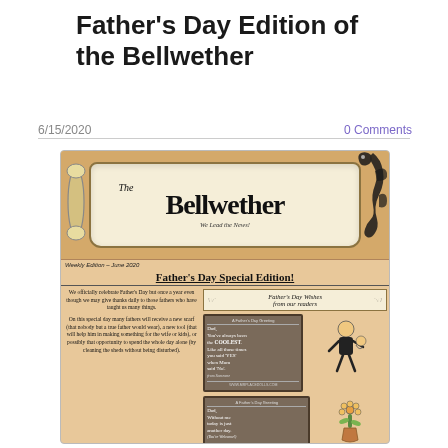Father's Day Edition of the Bellwether
6/15/2020
0 Comments
[Figure (illustration): Newsletter front page titled 'The Bellwether - We Lead the News!' with Father's Day Special Edition content, including text about Father's Day, greeting cards from readers, and illustrations of a father figure.]